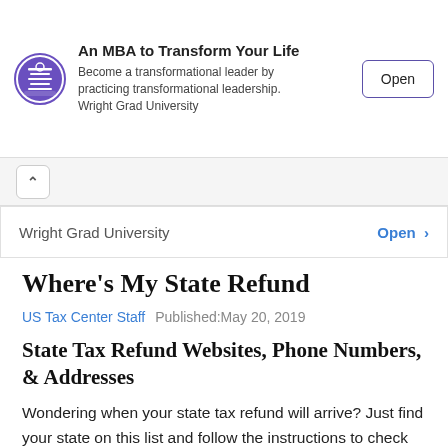[Figure (advertisement): Ad banner for Wright Grad University with circular logo, text 'An MBA to Transform Your Life', subtext 'Become a transformational leader by practicing transformational leadership. Wright Grad University', and an 'Open' button.]
[Figure (other): Collapse/chevron up tab button on grey background bar.]
Wright Grad University   Open >
Where's My State Refund
US Tax Center Staff   Published:May 20, 2019
State Tax Refund Websites, Phone Numbers, & Addresses
Wondering when your state tax refund will arrive? Just find your state on this list and follow the instructions to check your state tax refund status. Remember, most states with online tax refund status inquiry forms will require a Social Security Number (SSN), Tax year, and other information.